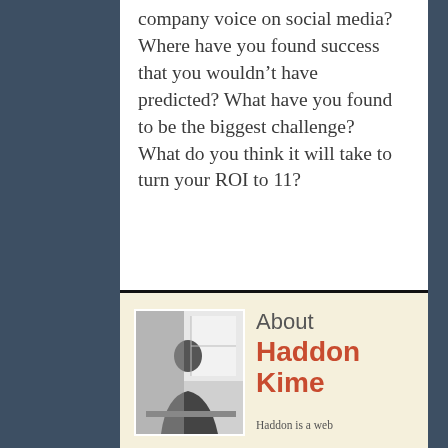company voice on social media? Where have you found success that you wouldn't have predicted? What have you found to be the biggest challenge? What do you think it will take to turn your ROI to 11?
[Figure (photo): Black and white photo of a man (Haddon Kime) sitting at a desk, writing or working]
About Haddon Kime
Haddon is a web